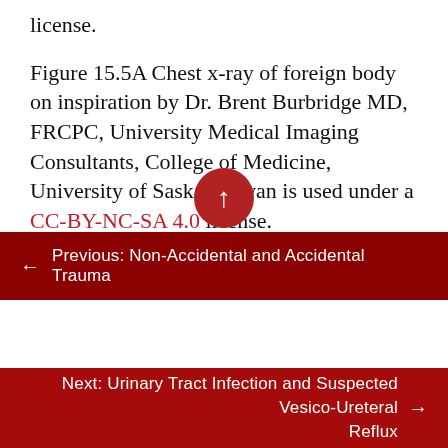license.
Figure 15.5A Chest x-ray of foreign body on inspiration by Dr. Brent Burbridge MD, FRCPC, University Medical Imaging Consultants, College of Medicine, University of Saskatchewan is used under a CC-BY-NC-SA 4.0 license.
Figure 15.5B Chest x-ray of foreign body on expiration by Dr. Brent Burbridge MD, FRCPC, University Medical Imaging Consultants, College of Medicine, University of Saskatchewan is used under a CC-BY-NC-SA 4.0
← Previous: Non-Accidental and Accidental Trauma
Next: Urinary Tract Infection and Suspected Vesico-Ureteral Reflux →